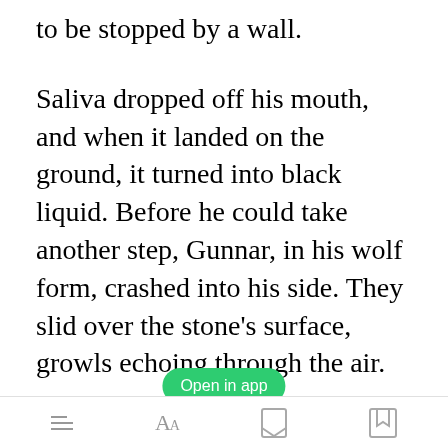to be stopped by a wall.
Saliva dropped off his mouth, and when it landed on the ground, it turned into black liquid. Before he could take another step, Gunnar, in his wolf form, crashed into his side. They slid over the stone’s surface, growls echoing through the air.
My head was spinning, not having
Open in app